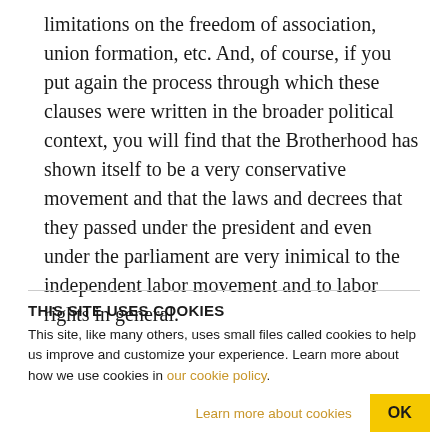limitations on the freedom of association, union formation, etc. And, of course, if you put again the process through which these clauses were written in the broader political context, you will find that the Brotherhood has shown itself to be a very conservative movement and that the laws and decrees that they passed under the president and even under the parliament are very inimical to the independent labor movement and to labor rights in general.
THIS SITE USES COOKIES
This site, like many others, uses small files called cookies to help us improve and customize your experience. Learn more about how we use cookies in our cookie policy.
Learn more about cookies
OK